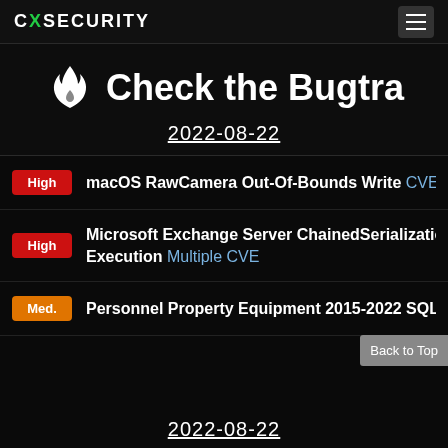CXSECURITY
Check the Bugtra
2022-08-22
High — macOS RawCamera Out-Of-Bounds Write CVE-2022-...
High — Microsoft Exchange Server ChainedSerializationBinde... Execution Multiple CVE
Med. — Personnel Property Equipment 2015-2022 SQL Injecti...
Back to Top
2022-08-22